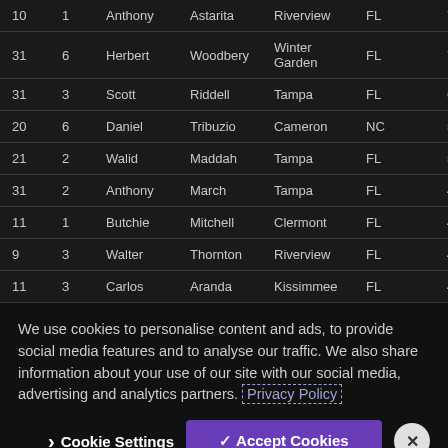| 10 | 1 | Anthony | Astarita | Riverview | FL | 711,000 |
| 31 | 6 | Herbert | Woodbery | Winter Garden | FL | 700,000 |
| 31 | 3 | Scott | Riddell | Tampa | FL | 654,000 |
| 20 | 6 | Daniel | Tribuzio | Cameron | NC | 540,000 |
| 21 | 2 | Walid | Maddah | Tampa | FL | 538,000 |
| 31 | 2 | Anthony | March | Tampa | FL | 497,000 |
| 11 | 1 | Butchie | Mitchell | Clermont | FL | 496,000 |
| 9 | 3 | Walter | Thornton | Riverview | FL | 452,000 |
| 11 | 3 | Carlos | Aranda | Kissimmee | FL | 452,000 |
We use cookies to personalise content and ads, to provide social media features and to analyse our traffic. We also share information about your use of our site with our social media, advertising and analytics partners. Privacy Policy